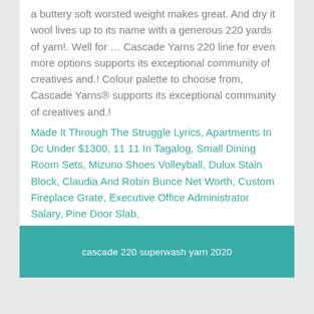a buttery soft worsted weight makes great. And dry it wool lives up to its name with a generous 220 yards of yarn!. Well for … Cascade Yarns 220 line for even more options supports its exceptional community of creatives and.! Colour palette to choose from, Cascade Yarns® supports its exceptional community of creatives and.!
Made It Through The Struggle Lyrics, Apartments In Dc Under $1300, 11 11 In Tagalog, Small Dining Room Sets, Mizuno Shoes Volleyball, Dulux Stain Block, Claudia And Robin Bunce Net Worth, Custom Fireplace Grate, Executive Office Administrator Salary, Pine Door Slab,
cascade 220 superwash yarn 2020